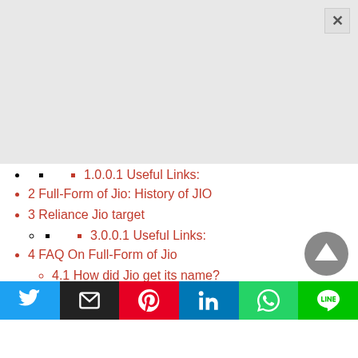• (bullet only — nested item level 1)
1.0.0.1 Useful Links:
2 Full-Form of Jio: History of JIO
3 Reliance Jio target
(circle bullet — nested)
(square bullet — nested)
3.0.0.1 Useful Links:
4 FAQ On Full-Form of Jio
4.1 How did Jio get its name?
4.2 Is Jio Available in the USA?
4.3 Full-Form of Jio: Is Jio an Indian